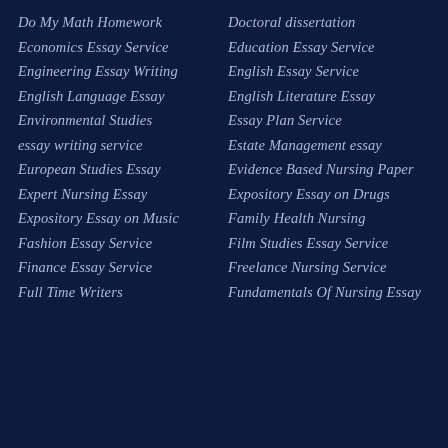Do My Math Homework
Doctoral dissertation
Economics Essay Service
Education Essay Service
Engineering Essay Writing
English Essay Service
English Language Essay
English Literature Essay
Environmental Studies
Essay Plan Service
essay writing service
Estate Management essay
European Studies Essay
Evidence Based Nursing Paper
Expert Nursing Essay
Expository Essay on Drugs
Expository Essay on Music
Family Health Nursing
Fashion Essay Service
Film Studies Essay Service
Finance Essay Service
Freelance Nursing Service
Full Time Writers
Fundamentals Of Nursing Essay